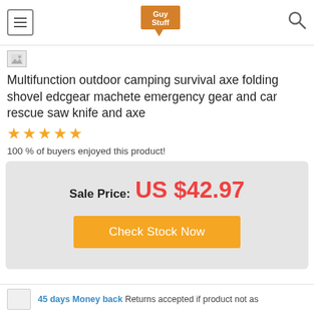[Figure (logo): GuyStuff logo — orange speech bubble with 'Guy Stuff' text inside]
[Figure (photo): Broken/loading image placeholder icon]
Multifunction outdoor camping survival axe folding shovel edcgear machete emergency gear and car rescue saw knife and axe
[Figure (other): Five orange star rating icons]
100 % of buyers enjoyed this product!
Sale Price: US $42.97
Check Stock Now
45 days Money back Returns accepted if product not as